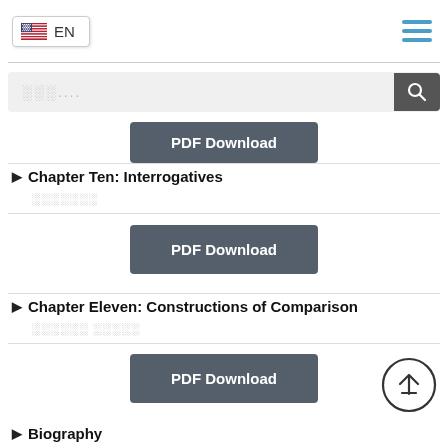[Figure (screenshot): Navigation bar with EN language selector button (US flag) on left and hamburger menu icon (three horizontal blue lines) on right]
[Figure (screenshot): Search bar with placeholder dots and search icon button on right]
[Figure (screenshot): PDF Download button (truncated at top)]
Chapter Ten: Interrogatives
░░░░░░░
[Figure (screenshot): PDF Download button]
Chapter Eleven: Constructions of Comparison
░░░░░░ ░░░░░
[Figure (screenshot): PDF Download button]
[Figure (screenshot): Scroll to top button (circle with arrow pointing up)]
Biography